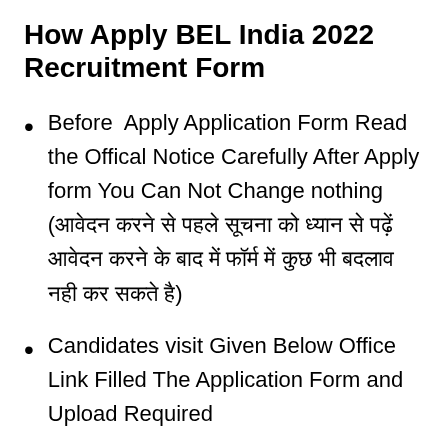How Apply BEL India 2022 Recruitment Form
Before Apply Application Form Read the Offical Notice Carefully After Apply form You Can Not Change nothing (आवेदन करने से पहले सूचना को ध्यान से पढ़ें आवेदन करने के बाद में फॉर्म में कुछ भी बदलाव नही कर सकते है)
Candidates visit Given Below Office Link Filled The Application Form and Upload Required